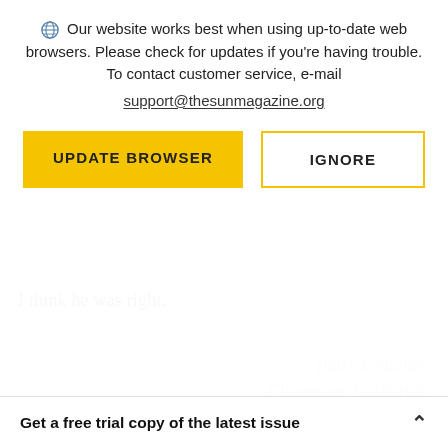Our website works best when using up-to-date web browsers. Please check for updates if you're having trouble. To contact customer service, e-mail support@thesunmagazine.org
UPDATE BROWSER
IGNORE
I think he was right.
Patrick Mobley
Claremont, California
MY PARENTS DID NOT BELIEVE in paying for
Get a free trial copy of the latest issue